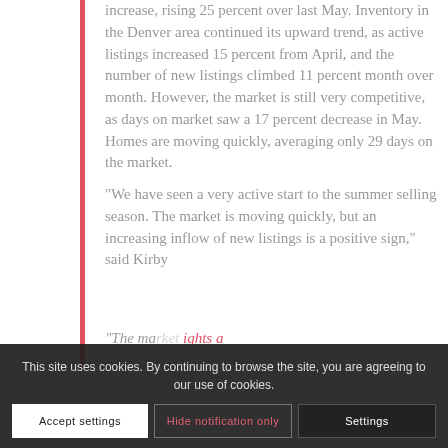increase, rising 25 percent over last May. Inventory in the Denver area continued its upward trend, as active listings increased 15 percent from April, and the number of new listings climbed 11 percent month over month. However, the market is still very competitive, as days on market saw a 17 percent decrease in May. Homes are moving quickly, averaging only 29 days on the market.
“We have seen a very active start to the summer selling season. The market is moving quickly, but an increasing inflow of new listings is a positive sign,” said Kirby
“The market... highlights a ... mind.
This site uses cookies. By continuing to browse the site, you are agreeing to our use of cookies.